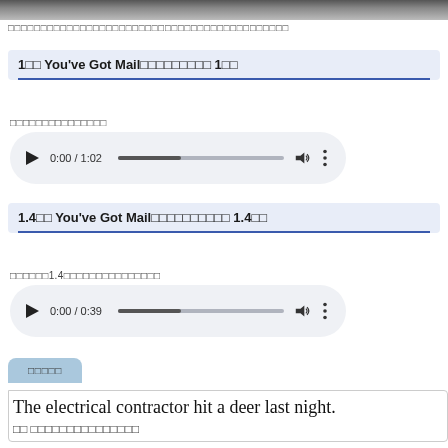[Figure (photo): Partial photo strip at top of page showing a dark image]
□□□□□□□□□□□□□□□□□□□□□□□□□□□□□□□□□□□□□□□
1□□ You've Got Mail□□□□□□□□□ 1□□
□□□□□□□□□□□□□□□
[Figure (other): Audio player showing 0:00 / 1:02]
1.4□□ You've Got Mail□□□□□□□□□□ 1.4□□
□□□□□□1.4□□□□□□□□□□□□□□□
[Figure (other): Audio player showing 0:00 / 0:39]
□□□□□
The electrical contractor hit a deer last night.